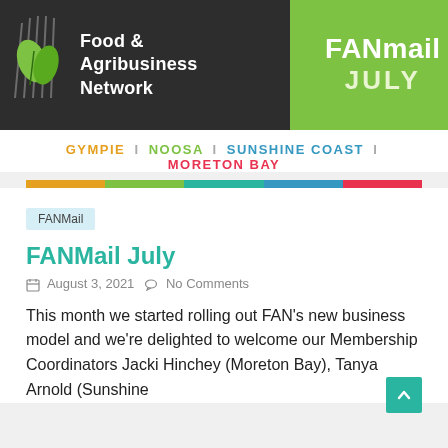[Figure (logo): Food & Agribusiness Network (FAN) logo with green leaf icon and FANmail July banner header. Left dark grey panel with logo and organization name, right green panel with FANmail JULY text.]
GYMPIE | NOOSA | SUNSHINE COAST | MORETON BAY
FANMail
FANMail July
August 3, 2021   No Comments
This month we started rolling out FAN's new business model and we're delighted to welcome our Membership Coordinators Jacki Hinchey (Moreton Bay), Tanya Arnold (Sunshine